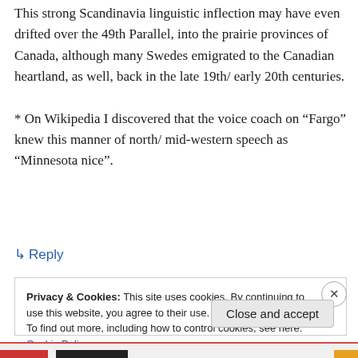This strong Scandinavia linguistic inflection may have even drifted over the 49th Parallel, into the prairie provinces of Canada, although many Swedes emigrated to the Canadian heartland, as well, back in the late 19th/ early 20th centuries.

* On Wikipedia I discovered that the voice coach on “Fargo” knew this manner of north/ mid-western speech as “Minnesota nice”.
↳ Reply
Privacy & Cookies: This site uses cookies. By continuing to use this website, you agree to their use.
To find out more, including how to control cookies, see here: Cookie Policy